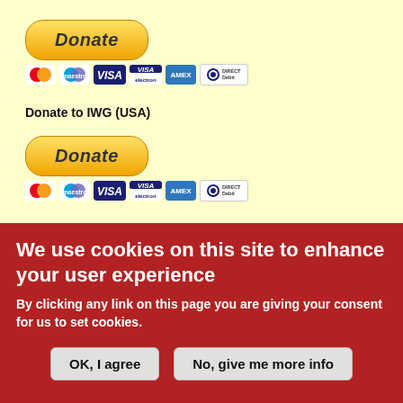[Figure (illustration): PayPal Donate button with payment card icons (Mastercard, Maestro, VISA, VISA Electron, American Express, Direct Debit)]
Donate to IWG (USA)
[Figure (illustration): PayPal Donate button with payment card icons (Mastercard, Maestro, VISA, VISA Electron, American Express, Direct Debit)]
Agenda
We use cookies on this site to enhance your user experience
By clicking any link on this page you are giving your consent for us to set cookies.
OK, I agree
No, give me more info